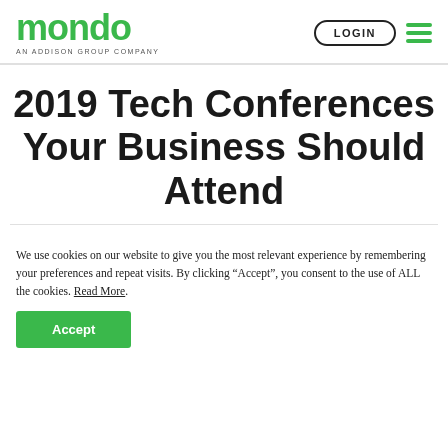mondo AN ADDISON GROUP COMPANY | LOGIN
2019 Tech Conferences Your Business Should Attend
We use cookies on our website to give you the most relevant experience by remembering your preferences and repeat visits. By clicking “Accept”, you consent to the use of ALL the cookies. Read More.
Accept